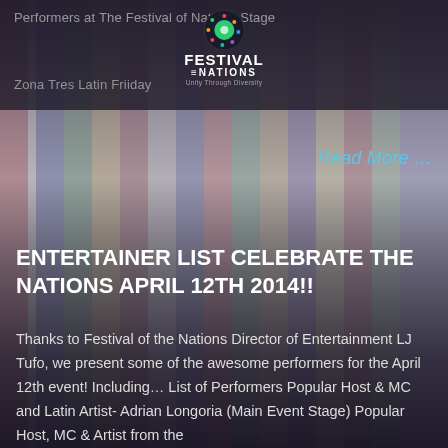[Figure (photo): Background photo of colorful international flags hanging from a ceiling or gallery, overlaid with dark semi-transparent color. Festival of Nations logo visible in the upper center area.]
Performers at The Festival of Nations Stage
Zona Tres Latin Friiday
Read More …
ENTERTAINER LIST CELEBRATE THE NATIONS APRIL 12TH 2014!!
Thanks to Festival of the Nations Director of Entertainment LJ Tufo, we present some of the awesome performers for the April 12th event! Including… List of Performers Popular Host & MC and Latin Artist- Adrian Longoria (Main Event Stage) Popular Host, MC & Artist from the